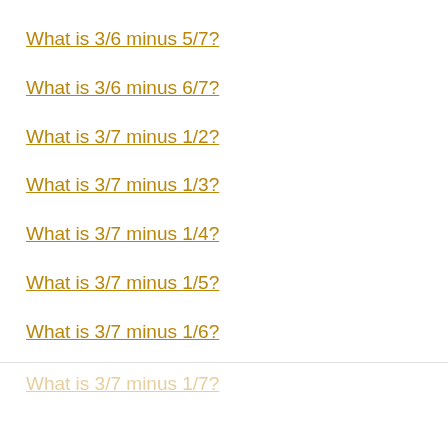What is 3/6 minus 5/7?
What is 3/6 minus 6/7?
What is 3/7 minus 1/2?
What is 3/7 minus 1/3?
What is 3/7 minus 1/4?
What is 3/7 minus 1/5?
What is 3/7 minus 1/6?
What is 3/7 minus 1/7?